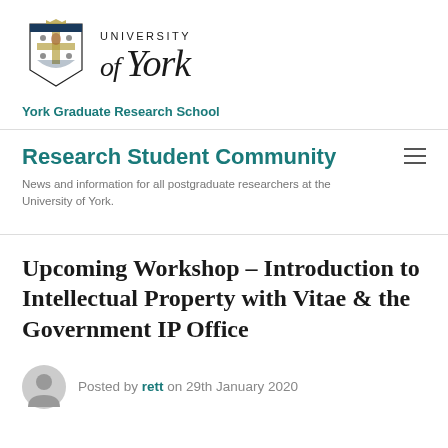[Figure (logo): University of York logo with heraldic crest and stylized wordmark 'University of York']
York Graduate Research School
Research Student Community
News and information for all postgraduate researchers at the University of York.
Upcoming Workshop – Introduction to Intellectual Property with Vitae & the Government IP Office
Posted by rett on 29th January 2020